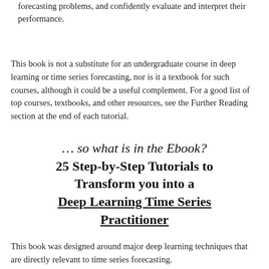forecasting problems, and confidently evaluate and interpret their performance.
This book is not a substitute for an undergraduate course in deep learning or time series forecasting, nor is it a textbook for such courses, although it could be a useful complement. For a good list of top courses, textbooks, and other resources, see the Further Reading section at the end of each tutorial.
… so what is in the Ebook?
25 Step-by-Step Tutorials to Transform you into a Deep Learning Time Series Practitioner
This book was designed around major deep learning techniques that are directly relevant to time series forecasting.